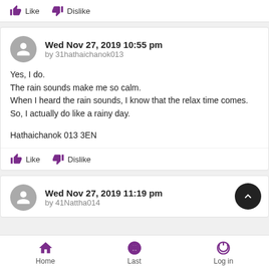Like   Dislike
Wed Nov 27, 2019 10:55 pm
by 31hathaichanok013

Yes, I do.
The rain sounds make me so calm.
When I heard the rain sounds, I know that the relax time comes.
So, I actually do like a rainy day.

Hathaichanok 013 3EN
Like   Dislike
Wed Nov 27, 2019 11:19 pm
by 41Nattha014
Home   Last   Log in